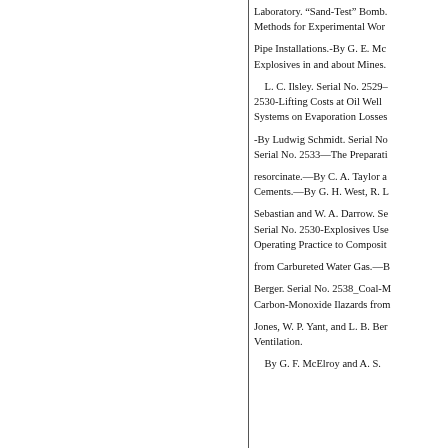Laboratory. “Sand-Test” Bomb. Methods for Experimental Wor
Pipe Installations.-By G. E. Mc Explosives in and about Mines.
L. C. Ilsley. Serial No. 2529– 2530-Lifting Costs at Oil Well Systems on Evaporation Losses
-By Ludwig Schmidt. Serial No. Serial No. 2533—The Preparati
resorcinate.—By C. A. Taylor a Cements.—By G. H. West, R. L
Sebastian and W. A. Darrow. Se Serial No. 2530-Explosives Use Operating Practice to Composit
from Carbureted Water Gas.—B
Berger. Serial No. 2538_Coal-M Carbon-Monoxide Hazards from
Jones, W. P. Yant, and L. B. Ber Ventilation.
By G. F. McElroy and A. S.